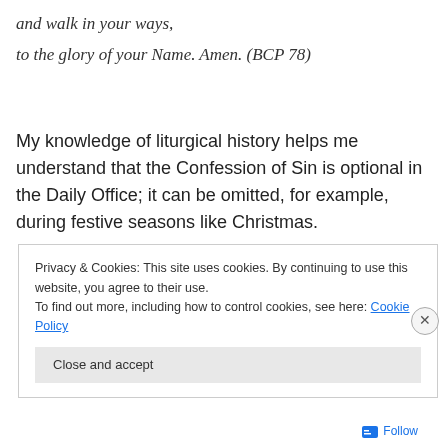and walk in your ways,
to the glory of your Name. Amen. (BCP 78)
My knowledge of liturgical history helps me understand that the Confession of Sin is optional in the Daily Office; it can be omitted, for example, during festive seasons like Christmas.
Privacy & Cookies: This site uses cookies. By continuing to use this website, you agree to their use.
To find out more, including how to control cookies, see here: Cookie Policy
Close and accept